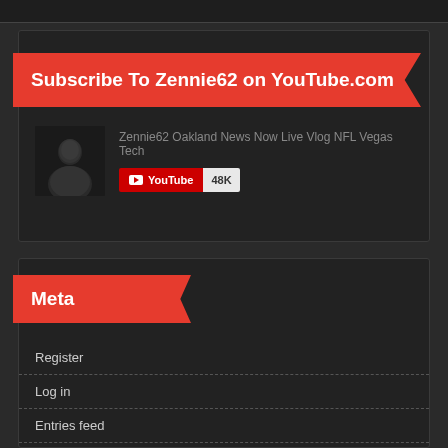[Figure (screenshot): YouTube subscribe widget showing 'Subscribe To Zennie62 on YouTube.com' red banner with channel thumbnail and 48K subscriber count]
Subscribe To Zennie62 on YouTube.com
Zennie62 Oakland News Now Live Vlog NFL Vegas Tech
YouTube 48K
Meta
Register
Log in
Entries feed
Comments feed